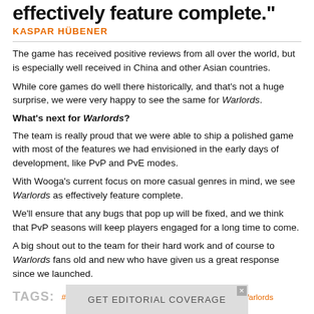effectively feature complete."
KASPAR HÜBENER
The game has received positive reviews from all over the world, but is especially well received in China and other Asian countries.
While core games do well there historically, and that's not a huge surprise, we were very happy to see the same for Warlords.
What's next for Warlords?
The team is really proud that we were able to ship a polished game with most of the features we had envisioned in the early days of development, like PvP and PvE modes.
With Wooga's current focus on more casual genres in mind, we see Warlords as effectively feature complete.
We'll ensure that any bugs that pop up will be fixed, and we think that PvP seasons will keep players engaged for a long time to come.
A big shout out to the team for their hard work and of course to Warlords fans old and new who have given us a great response since we launched.
TAGS: #Making Of #Berlin #Midcore #Strategy Genre #Warlords
[Figure (other): Advertisement banner: GET EDITORIAL COVERAGE]